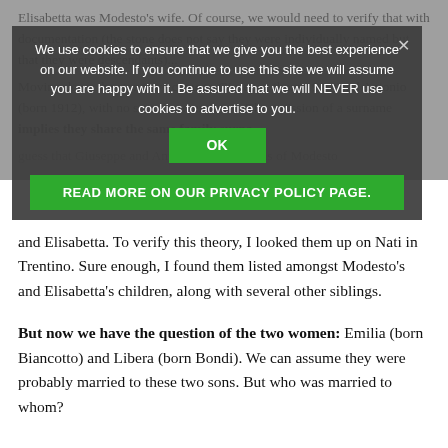Elisabetta was Modesto's wife. Of course, we would need to verify that with documentation (the stone does not say they were individually named but that they were descendants)...
[Figure (screenshot): Cookie consent popup overlay with dark semi-transparent background. Contains message: 'We use cookies to ensure that we give you the best experience on our website. If you continue to use this site we will assume you are happy with it. Be assured that we will NEVER use cookies to advertise to you.' with an OK button and a green READ MORE ON OUR PRIVACY POLICY PAGE button.]
Moving down the stone, we come to Giuseppe (born 1910) and Antonio (born 1912), with no surname mentioned. The omission of a surname implies they share the same family surname... might guess that Giuseppe and Antonio were the sons of Modesto and Elisabetta. To verify this theory, I looked them up on Nati in Trentino. Sure enough, I found them listed amongst Modesto's and Elisabetta's children, along with several other siblings.
But now we have the question of the two women: Emilia (born Biancotto) and Libera (born Bondi). We can assume they were probably married to these two sons. But who was married to whom?